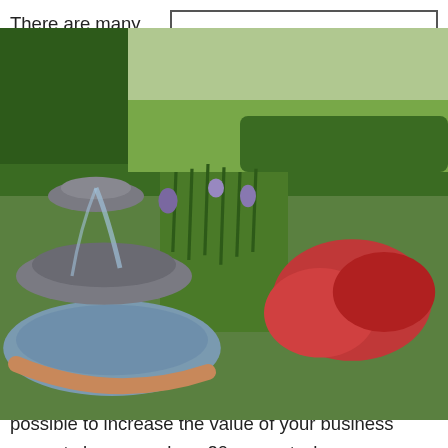There are many different types of hardscaping construction in Rhode Island that are popular with our commercial clients.
[Figure (photo): Photo of a decorative stone fountain with water, surrounded by lush green landscaping including tall grasses, flowering red and purple plants, trimmed hedges, and a brick edging. A driveway and lawn visible in the background.]
Walkways, driveways, patios, outdoor living areas, retaining walls, and seating areas are frequently requested for office complexes, shopping malls, and other consumer businesses. However, when it comes to commercial hardscaping solutions, it is possible to increase the value of your business property by as much as 20 percent when you choose to install a water feature. There are many benefits to using Glocester hardscaping design to enhance your Northern Rhode Island commercial property. Hardscaping can help to make better use of outdoor space, improve the layout of a